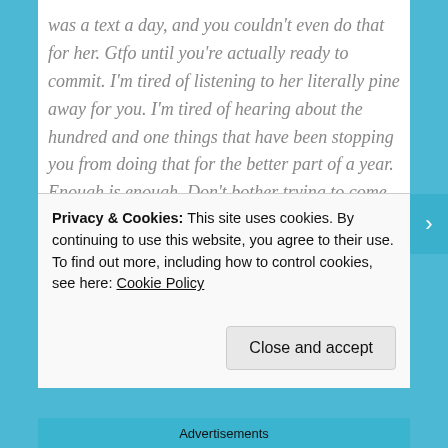was a text a day, and you couldn't even do that for her. Gtfo until you're actually ready to commit. I'm tired of listening to her literally pine away for you. I'm tired of hearing about the hundred and one things that have been stopping you from doing that for the better part of a year. Enough is enough. Don't bother trying to come back for her because she can't wait any longer.
I unpartner him on SL. I block Skype. He was off my collar over a week ago. Coyote and I discuss things and Bam! We're now partners. Not that it matters –
Privacy & Cookies: This site uses cookies. By continuing to use this website, you agree to their use.
To find out more, including how to control cookies, see here: Cookie Policy
Close and accept
Advertisements